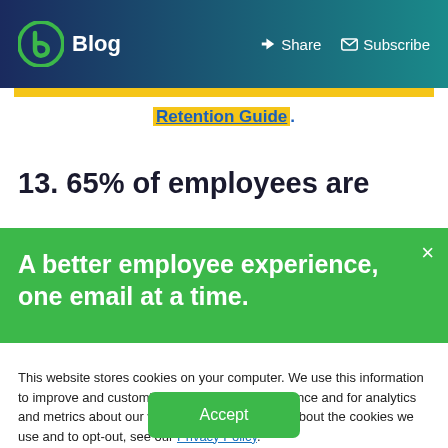Blog | Share | Subscribe
Retention Guide.
13. 65% of employees are
A better employee experience, one email at a time.
This website stores cookies on your computer. We use this information to improve and customize your browsing experience and for analytics and metrics about our visitors. To find out more about the cookies we use and to opt-out, see our Privacy Policy.
Accept